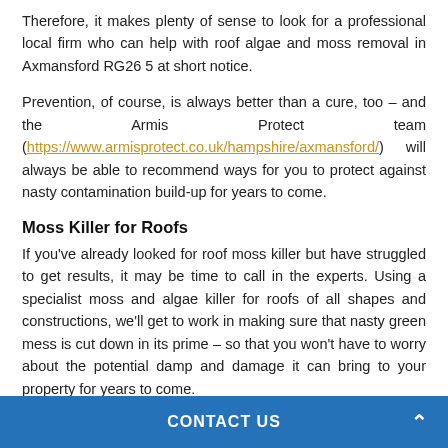Therefore, it makes plenty of sense to look for a professional local firm who can help with roof algae and moss removal in Axmansford RG26 5 at short notice.
Prevention, of course, is always better than a cure, too – and the Armis Protect team (https://www.armisprotect.co.uk/hampshire/axmansford/) will always be able to recommend ways for you to protect against nasty contamination build-up for years to come.
Moss Killer for Roofs
If you've already looked for roof moss killer but have struggled to get results, it may be time to call in the experts. Using a specialist moss and algae killer for roofs of all shapes and constructions, we'll get to work in making sure that nasty green mess is cut down in its prime – so that you won't have to worry about the potential damp and damage it can bring to your property for years to come.
CONTACT US